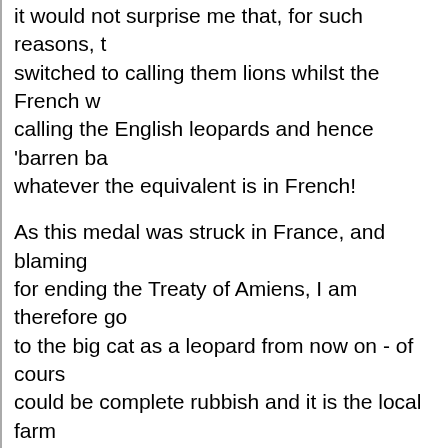it would not surprise me that, for such reasons, they switched to calling them lions whilst the French were calling the English leopards and hence 'barren ba... whatever the equivalent is in French!
As this medal was struck in France, and blaming ... for ending the Treaty of Amiens, I am therefore go... to the big cat as a leopard from now on - of cours... could be complete rubbish and it is the local farm...
Report
Wrekkdd  Pillar of the Community
Canada   3319 Posts
Posted 02/02/2022  2:59 pm
A mainlace lion is a famale lion. In a lion pride th...